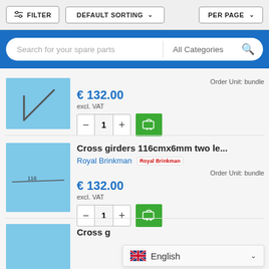[Figure (screenshot): E-commerce product listing page with filter/sort toolbar, blue search bar, and two product listings for cross girders at €132.00 excl. VAT, with quantity controls and add-to-cart buttons. Language selector showing English at bottom.]